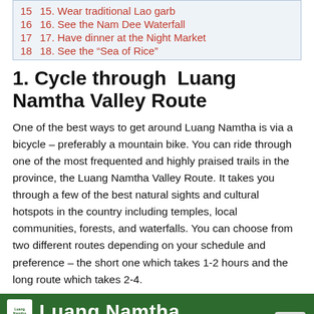15 15. Wear traditional Lao garb
16 16. See the Nam Dee Waterfall
17 17. Have dinner at the Night Market
18 18. See the “Sea of Rice”
1. Cycle through  Luang Namtha Valley Route
One of the best ways to get around Luang Namtha is via a bicycle – preferably a mountain bike. You can ride through one of the most frequented and highly praised trails in the province, the Luang Namtha Valley Route. It takes you through a few of the best natural sights and cultural hotspots in the country including temples, local communities, forests, and waterfalls. You can choose from two different routes depending on your schedule and preference – the short one which takes 1-2 hours and the long route which takes 2-4.
[Figure (illustration): Green banner with white logo and text reading Luang Namtha]